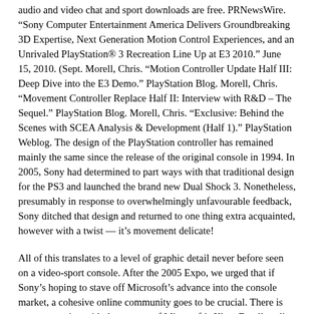audio and video chat and sport downloads are free. PRNewsWire. “Sony Computer Entertainment America Delivers Groundbreaking 3D Expertise, Next Generation Motion Control Experiences, and an Unrivaled PlayStation® 3 Recreation Line Up at E3 2010.” June 15, 2010. (Sept. Morell, Chris. “Motion Controller Update Half III: Deep Dive into the E3 Demo.” PlayStation Blog. Morell, Chris. “Movement Controller Replace Half II: Interview with R&D – The Sequel.” PlayStation Blog. Morell, Chris. “Exclusive: Behind the Scenes with SCEA Analysis & Development (Half 1).” PlayStation Weblog. The design of the PlayStation controller has remained mainly the same since the release of the original console in 1994. In 2005, Sony had determined to part ways with that traditional design for the PS3 and launched the brand new Dual Shock 3. Nonetheless, presumably in response to overwhelmingly unfavourable feedback, Sony ditched that design and returned to one thing extra acquainted, however with a twist — it’s movement delicate!
All of this translates to a level of graphic detail never before seen on a video-sport console. After the 2005 Expo, we urged that if Sony’s hoping to stave off Microsoft’s advance into the console market, a cohesive online community goes to be crucial. There is not any arguing with the success of Microsoft’s Xbox Dwell on-line gaming service. Also, Sony left it up to each recreation firm to build and host its personal on-line gaming community, so the PlayStation 2 never offered the online structure that Xbox does. Moreover, if you are used to a